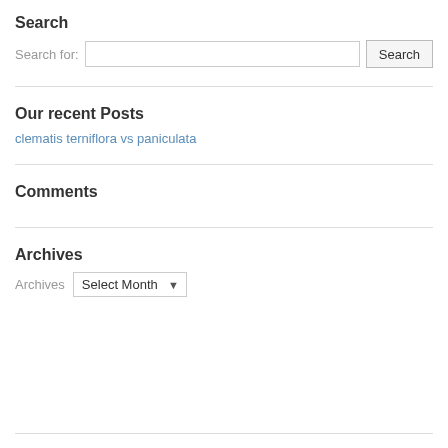Search
Search for: [input] Search
Our recent Posts
clematis terniflora vs paniculata
Comments
Archives
Archives Select Month